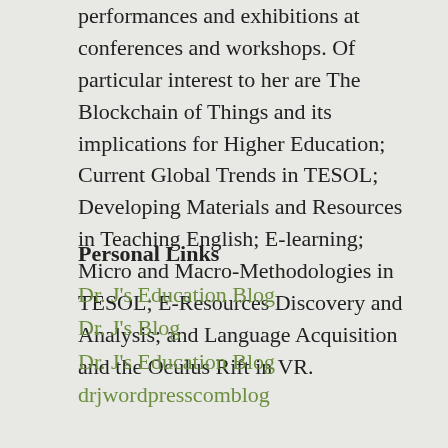performances and exhibitions at conferences and workshops. Of particular interest to her are The Blockchain of Things and its implications for Higher Education; Current Global Trends in TESOL; Developing Materials and Resources in Teaching English; E-learning; Micro and Macro-Methodologies in TESOL; E-Resources Discovery and Analysis; and Language Acquisition and the Oculus Rift in VR.
Personal Links
Dr. J's Education Blog
Dr. J's Blog
Dr. J's Education Blog
drjwordpresscomblog